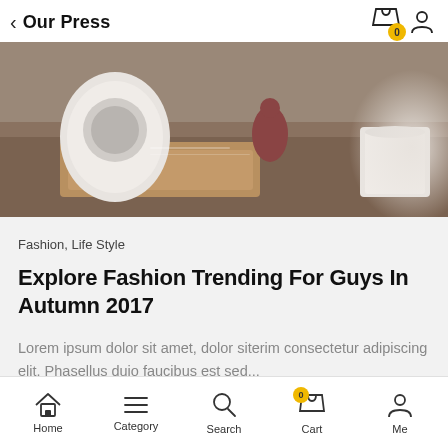Our Press
[Figure (photo): A flat-lay styled photo showing a white speaker device, a small figurine, a wooden tray, and a white cup on a wooden surface]
Fashion, Life Style
Explore Fashion Trending For Guys In Autumn 2017
Lorem ipsum dolor sit amet, dolor siterim consectetur adipiscing elit. Phasellus duio faucibus est sed...
Home  Category  Search  Cart  Me